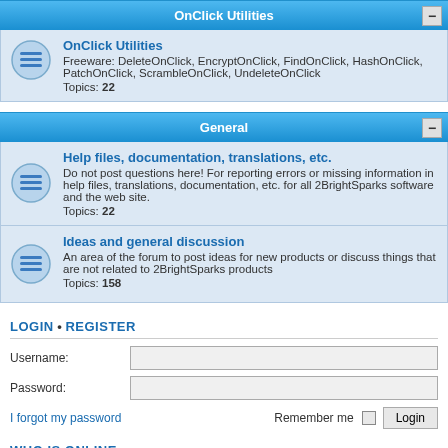OnClick Utilities
OnClick Utilities
Freeware: DeleteOnClick, EncryptOnClick, FindOnClick, HashOnClick, PatchOnClick, ScrambleOnClick, UndeleteOnClick
Topics: 22
General
Help files, documentation, translations, etc.
Do not post questions here! For reporting errors or missing information in help files, translations, documentation, etc. for all 2BrightSparks software and the web site.
Topics: 22
Ideas and general discussion
An area of the forum to post ideas for new products or discuss things that are not related to 2BrightSparks products
Topics: 158
LOGIN • REGISTER
Username:
Password:
I forgot my password
Remember me  Login
WHO IS ONLINE
In total there are 20 users online :: 3 registered, 0 hidden and 17 guests (based on users